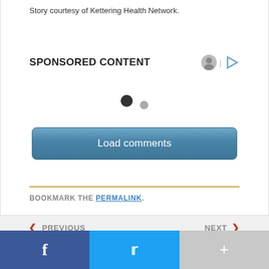Story courtesy of Kettering Health Network.
SPONSORED CONTENT
[Figure (other): Carousel navigation dots: one large filled black dot and one smaller gray dot indicating slide position]
[Figure (other): Load comments button - rounded rectangle with blue gradient background and white text]
BOOKMARK THE PERMALINK.
< PREVIOUS   NEXT >
[Figure (other): Social sharing bar with Facebook (blue), Twitter (cyan), and more (+) buttons]